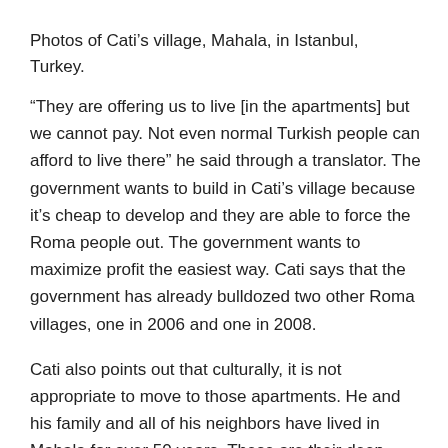Photos of Cati’s village, Mahala, in Istanbul, Turkey.
“They are offering us to live [in the apartments] but we cannot pay. Not even normal Turkish people can afford to live there” he said through a translator. The government wants to build in Cati’s village because it’s cheap to develop and they are able to force the Roma people out. The government wants to maximize profit the easiest way. Cati says that the government has already bulldozed two other Roma villages, one in 2006 and one in 2008.
Cati also points out that culturally, it is not appropriate to move to those apartments. He and his family and all of his neighbors have lived in Mahala for over 50 years. These are their deep roots and the developers shouldn’t be able to drive them out, which the government overlooks.
Sadi’s village is already suffering without much electricity or